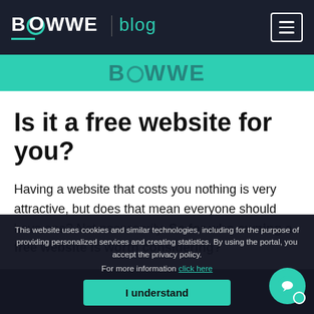BOWWE blog
[Figure (logo): Teal banner strip with BOWWE logo watermark]
Is it a free website for you?
Having a website that costs you nothing is very attractive, but does that mean everyone should have one? Not necessarily. So for who owning a free website is worth considering?
This website uses cookies and similar technologies, including for the purpose of providing personalized services and creating statistics. By using the portal, you accept the privacy policy.
For more information click here
I understand